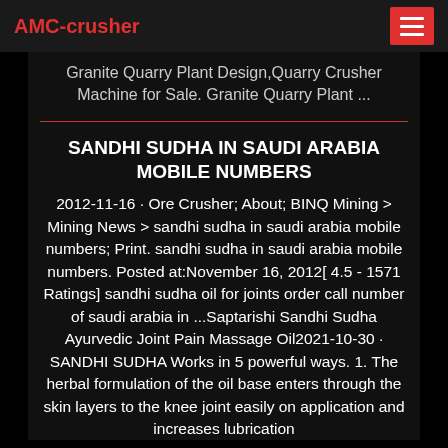AMC-crusher
Granite Quarry Plant Design,Quarry Crusher Machine for Sale. Granite Quarry Plant ...
SANDHI SUDHA IN SAUDI ARABIA MOBILE NUMBERS
2012-11-16 · Ore Crusher; About; BINQ Mining > Mining News > sandhi sudha in saudi arabia mobile numbers; Print. sandhi sudha in saudi arabia mobile numbers. Posted at:November 16, 2012[ 4.5 - 1571 Ratings] sandhi sudha oil for joints order call number of saudi arabia in ...Saptarishi Sandhi Sudha Ayurvedic Joint Pain Massage Oil2021-10-30 · SANDHI SUDHA Works in 5 powerful ways. 1. The herbal formulation of the oil base enters through the skin layers to the knee joint easily on application and increases lubrication